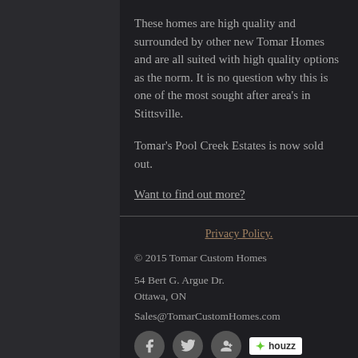These homes are high quality and surrounded by other new Tomar Homes and are all suited with high quality options as the norm.  It is no question why this is one of the most sought after area's in Stittsville.
Tomar's Pool Creek Estates is now sold out.
Want to find out more?
Privacy Policy.
© 2015 Tomar Custom Homes
54 Bert G. Argue Dr.
Ottawa, ON
Sales@TomarCustomHomes.com